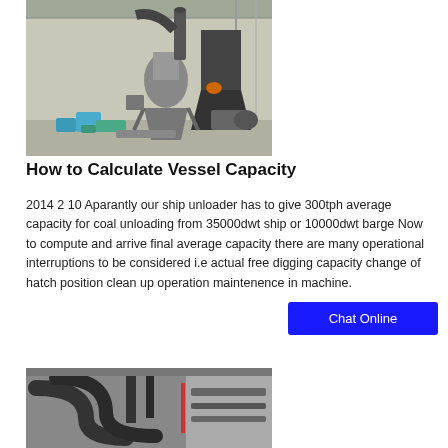[Figure (photo): Industrial machinery inside a warehouse showing grinding/milling equipment with pipes, a conical mill, conveyor parts, and blue containers on the floor.]
How to Calculate Vessel Capacity
2014 2 10 Aparantly our ship unloader has to give 300tph average capacity for coal unloading from 35000dwt ship or 10000dwt barge Now to compute and arrive final average capacity there are many operational interruptions to be considered i.e actual free digging capacity change of hatch position clean up operation maintenence in machine.
[Figure (photo): Industrial ductwork and piping system inside a building, showing large black curved pipes mounted on a wall or ceiling structure.]